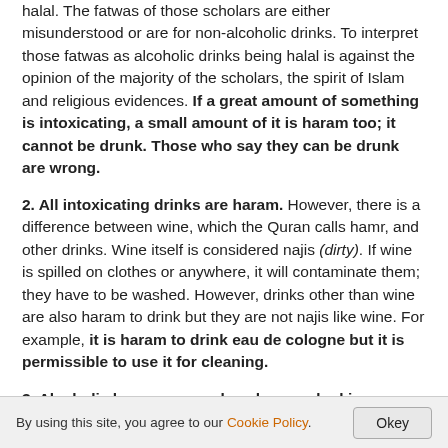halal. The fatwas of those scholars are either misunderstood or are for non-alcoholic drinks. To interpret those fatwas as alcoholic drinks being halal is against the opinion of the majority of the scholars, the spirit of Islam and religious evidences. If a great amount of something is intoxicating, a small amount of it is haram too; it cannot be drunk. Those who say they can be drunk are wrong.
2. All intoxicating drinks are haram. However, there is a difference between wine, which the Quran calls hamr, and other drinks. Wine itself is considered najis (dirty). If wine is spilled on clothes or anywhere, it will contaminate them; they have to be washed. However, drinks other than wine are also haram to drink but they are not najis like wine. For example, it is haram to drink eau de cologne but it is permissible to use it for cleaning.
3. Alcoholic beverages such as beer and raki are haram according to Imam Abu Hanifa too. What he says is not
By using this site, you agree to our Cookie Policy.   Okey